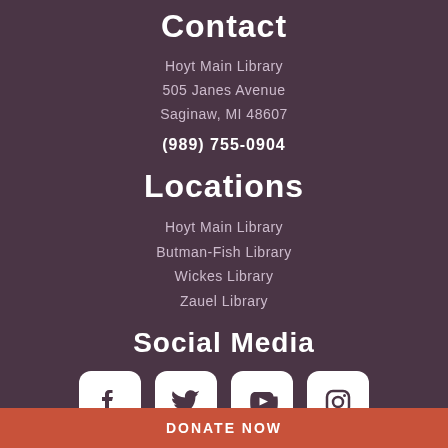Contact
Hoyt Main Library
505 Janes Avenue
Saginaw, MI 48607
(989) 755-0904
Locations
Hoyt Main Library
Butman-Fish Library
Wickes Library
Zauel Library
Social Media
[Figure (infographic): Four social media icons: Facebook, Twitter, YouTube, Instagram in white rounded square boxes]
DONATE NOW